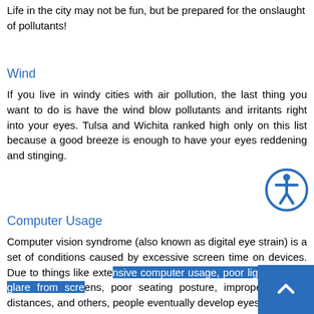Life in the city may not be fun, but be prepared for the onslaught of pollutants!
Wind
If you live in windy cities with air pollution, the last thing you want to do is have the wind blow pollutants and irritants right into your eyes. Tulsa and Wichita ranked high only on this list because a good breeze is enough to have your eyes reddening and stinging.
Computer Usage
Computer vision syndrome (also known as digital eye strain) is a set of conditions caused by excessive screen time on devices. Due to things like extensive computer usage, poor lighting, high glare from screens, poor seating posture, improper viewing distances, and others, people eventually develop eyestrain